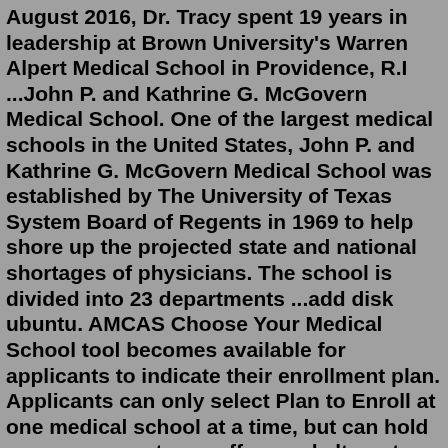August 2016, Dr. Tracy spent 19 years in leadership at Brown University's Warren Alpert Medical School in Providence, R.I ...John P. and Kathrine G. McGovern Medical School. One of the largest medical schools in the United States, John P. and Kathrine G. McGovern Medical School was established by The University of Texas System Board of Regents in 1969 to help shore up the projected state and national shortages of physicians. The school is divided into 23 departments ...add disk ubuntu. AMCAS Choose Your Medical School tool becomes available for applicants to indicate their enrollment plan. Applicants can only select Plan to Enroll at one medical school at a time, but can hold as many acceptance offers and alternate list positions as they choose. April 15: Accepted applicants must narrow accepted offers to three medical schools.Citing irreparable damage from Tropical Storm Harvey, Beaumont ISD will close Central High School and move its student body to Ozen High School, creating two 6A schools in 2018-19. The board of ...Senior Director of Admissions and